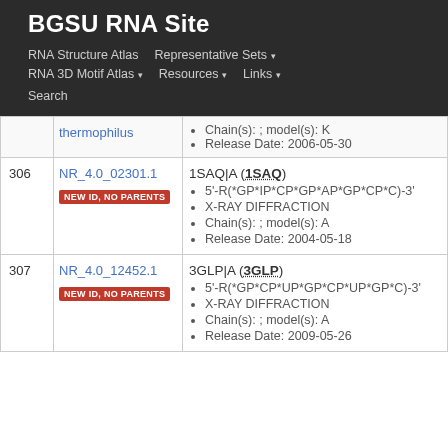BGSU RNA Site
RNA Structure Atlas | Representative Sets ▾ | RNA 3D Motif Atlas ▾ | Resources ▾ | Links ▾ | Search
| # | ID | Details |
| --- | --- | --- |
|  | thermophilus | Chain(s): ; model(s): K
Release Date: 2006-05-30 |
| 306 | NR_4.0_02301.1 NEW ID, NO PARENTS | 1SAQ|A (1SAQ)
5'-R(*GP*IP*CP*GP*AP*GP*CP*C)-3'
X-RAY DIFFRACTION
Chain(s): ; model(s): A
Release Date: 2004-05-18 |
| 307 | NR_4.0_12452.1 NEW ID, NO PARENTS | 3GLP|A (3GLP)
5'-R(*GP*CP*UP*GP*CP*UP*GP*C)-3'
X-RAY DIFFRACTION
Chain(s): ; model(s): A
Release Date: 2009-05-26 |